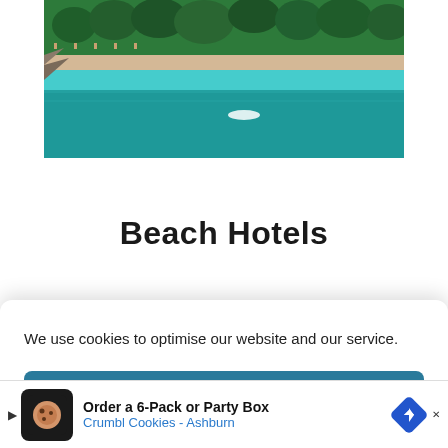[Figure (photo): Aerial view of a beach resort with turquoise water, palm trees, and beach umbrellas]
Beach Hotels
Plan Your Next Trip to
We use cookies to optimise our website and our service.
Accept
Cookie Policy   Privacy Policy/Disclosure   Privacy Policy/Disclosure
[Figure (screenshot): Advertisement banner: Order a 6-Pack or Party Box Crumbl Cookies - Ashburn]